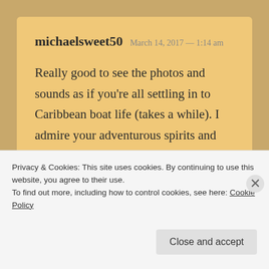michaelsweet50  March 14, 2017 — 1:14 am
Really good to see the photos and sounds as if you're all settling in to Caribbean boat life (takes a while). I admire your adventurous spirits and envy your youthful energy! I'll be heading west from here (Martinique) but
Privacy & Cookies: This site uses cookies. By continuing to use this website, you agree to their use.
To find out more, including how to control cookies, see here: Cookie Policy
Close and accept